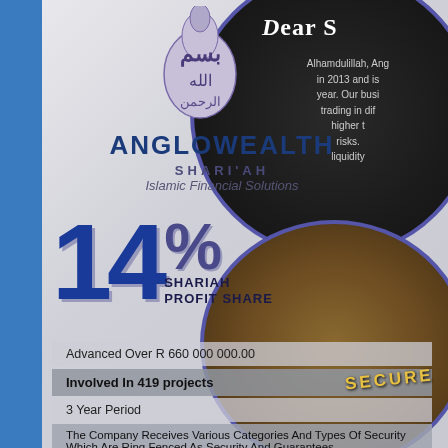[Figure (logo): Arabic calligraphy emblem at top center of Anglowealth Shariah]
ANGLOWEALTH SHARI'AH
Islamic Financial Solutions
14% SHARIAH PROFIT SHARE
Advanced Over R 660 000 000.00
Involved In 419 projects
3 Year Period
The Company Receives Various Categories And Types Of Security Which Are Ring Fenced As Security And Guarantees
Dear S
Alhamdulillah, Ang... in 2013 and is... year. Our busi... trading in dif... higher t... risks. liquidity